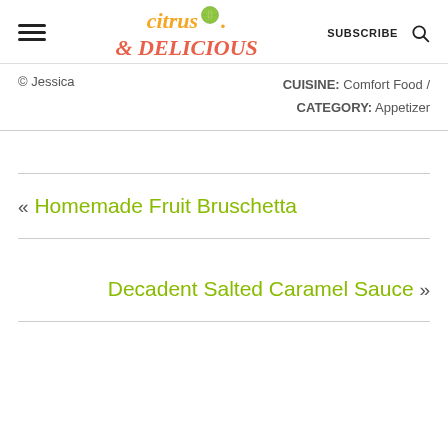citrus & DELICIOUS | SUBSCRIBE
© Jessica    CUISINE: Comfort Food / CATEGORY: Appetizer
« Homemade Fruit Bruschetta
Decadent Salted Caramel Sauce »